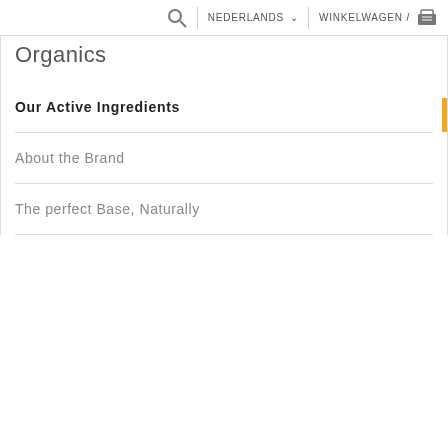NEDERLANDS  WINKELWAGEN /
Organics
Our Active Ingredients
About the Brand
The perfect Base, Naturally